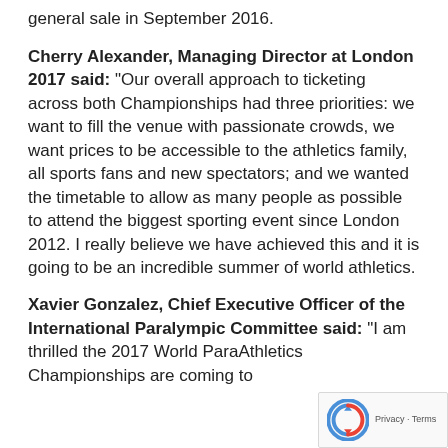general sale in September 2016.
Cherry Alexander, Managing Director at London 2017 said: “Our overall approach to ticketing across both Championships had three priorities: we want to fill the venue with passionate crowds, we want prices to be accessible to the athletics family, all sports fans and new spectators; and we wanted the timetable to allow as many people as possible to attend the biggest sporting event since London 2012. I really believe we have achieved this and it is going to be an incredible summer of world athletics.
Xavier Gonzalez, Chief Executive Officer of the International Paralympic Committee said: “I am thrilled the 2017 World ParaAthletics Championships are coming to